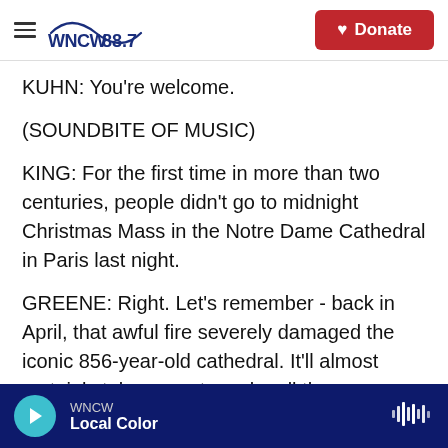WNCW 88.7 wncw.org — Donate
KUHN: You're welcome.
(SOUNDBITE OF MUSIC)
KING: For the first time in more than two centuries, people didn't go to midnight Christmas Mass in the Notre Dame Cathedral in Paris last night.
GREENE: Right. Let's remember - back in April, that awful fire severely damaged the iconic 856-year-old cathedral. It'll almost certainly take years to make all the necessary repairs. And so last night, worshippers in the French capital gathered in a
WNCW — Local Color